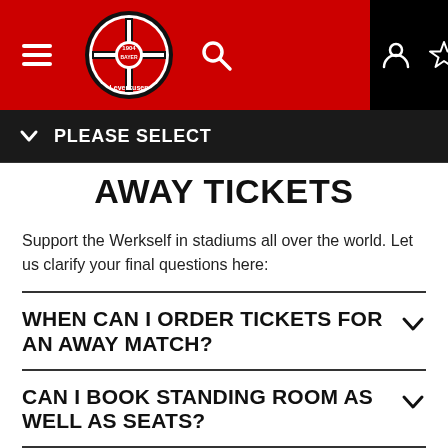[Figure (screenshot): Bayer 04 Leverkusen website navigation bar with red header containing hamburger menu, club logo/badge, and search icon on red background; account, favorites, and cart icons on black background]
PLEASE SELECT
AWAY TICKETS
Support the Werkself in stadiums all over the world. Let us clarify your final questions here:
WHEN CAN I ORDER TICKETS FOR AN AWAY MATCH?
CAN I BOOK STANDING ROOM AS WELL AS SEATS?
CAN I ALSO GET MY AWAY TICKET AS AN E-TICKET?